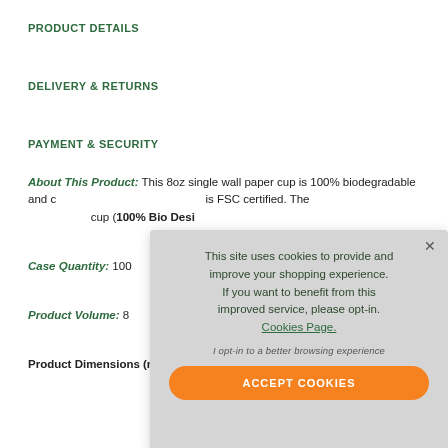PRODUCT DETAILS
DELIVERY & RETURNS
PAYMENT & SECURITY
About This Product: This 8oz single wall paper cup is 100% biodegradable and compostable. The paper used is FSC certified. The design features a green wave cup (100% Bio Desi…
Case Quantity: 100…
Product Volume: 8…
Product Dimensions (mm): Top Diameter = 80, Base Diameter =…
This site uses cookies to provide and improve your shopping experience. If you want to benefit from this improved service, please opt-in. Cookies Page. I opt-in to a better browsing experience ACCEPT COOKIES